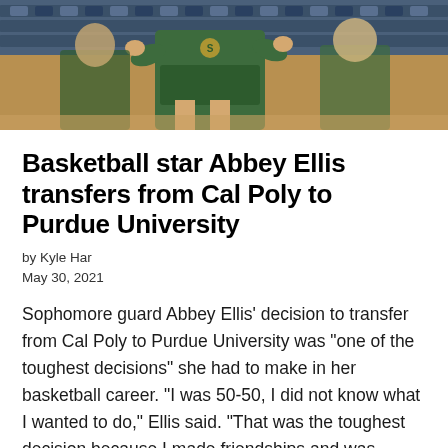[Figure (photo): Basketball player in green and gold Cal Poly uniform, clapping hands, with other players and gym seating visible in background]
Basketball star Abbey Ellis transfers from Cal Poly to Purdue University
by Kyle Har
May 30, 2021
Sophomore guard Abbey Ellis' decision to transfer from Cal Poly to Purdue University was "one of the toughest decisions" she had to make in her basketball career. "I was 50-50, I did not know what I wanted to do," Ellis said. "That was the toughest decision because I made friendships and was established here." After narrowing her choices [...]